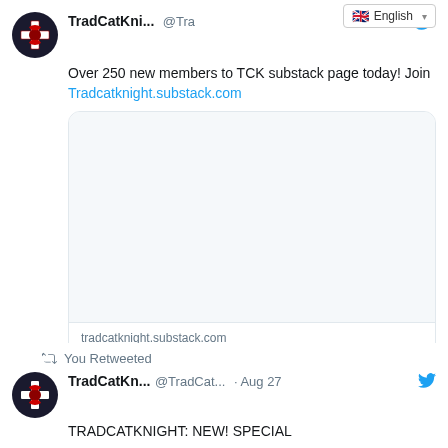[Figure (screenshot): Twitter/X screenshot showing two tweets from TradCatKnight. First tweet: 'Over 250 new members to TCK substack page today! Join Tradcatknight.substack.com' with a link card showing tradcatknight.substack.com and title TRADCATKNIGHT. Engagement: 1 comment, 4 likes. Second tweet is a retweet: TradCatKn... @TradCat... Aug 27 - TRADCATKNIGHT: NEW! SPECIAL. Language selector showing English in top right.]